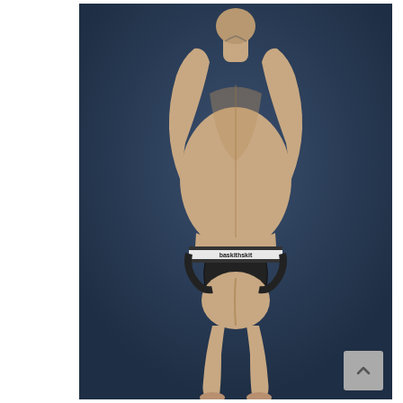[Figure (photo): A muscular man photographed from behind, wearing a black jockstrap with a white waistband labeled 'baskithskit', against a dark blue-grey background. His arms are raised above his head.]